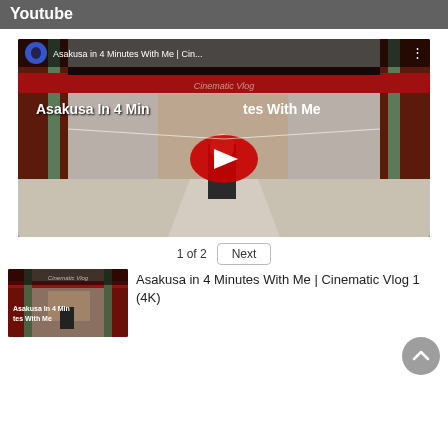Youtube
[Figure (screenshot): YouTube embedded video player showing 'Asakusa in 4 Minutes With Me | Cinematic Vlog 1 (4K)' with a play button overlay. The thumbnail shows a woman walking through Asakusa temple with red pillars.]
1 of 2
Next
[Figure (screenshot): Thumbnail of the video 'Asakusa In 4 Minutes With Me' showing red temple pillars]
Asakusa in 4 Minutes With Me | Cinematic Vlog 1 (4K)